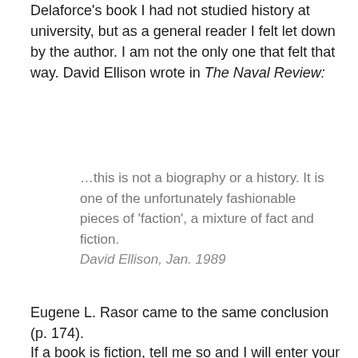Delaforce's book I had not studied history at university, but as a general reader I felt let down by the author.  I am not the only one that felt that way.  David Ellison wrote in The Naval Review:
…this is not a biography or a history. It is one of the unfortunately fashionable pieces of 'faction', a mixture of fact and fiction.
David Ellison, Jan. 1989
Eugene L. Rasor came to the same conclusion (p. 174).
If a book is fiction, tell me so and I will enter your imaginary world.  If a book seeks to be an analysis of what actually occurred in the past, footnote it or I won't believe you.  I don't mind whether it is a footnote at the